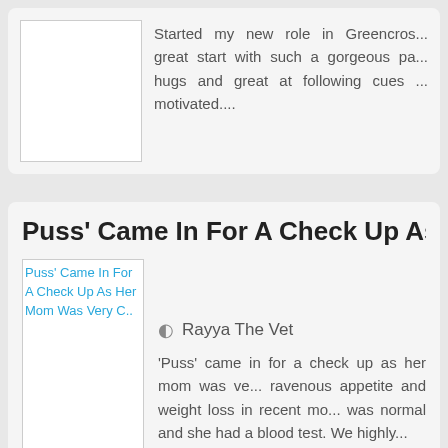[Figure (photo): Image placeholder for top card post]
Started my new role in Greencros... great start with such a gorgeous pa... hugs and great at following cues ... motivated....
Puss' Came In For A Check Up As Her Mom Was...
[Figure (photo): Image of Puss the cat with alt text link]
Rayya The Vet
'Puss' came in for a check up as her mom was ve... ravenous appetite and weight loss in recent mo... was normal and she had a blood test. We highly...